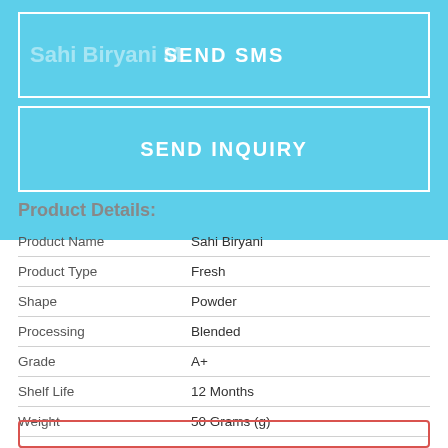SEND SMS
SEND INQUIRY
Product Details:
|  |  |
| --- | --- |
| Product Name | Sahi Biryani |
| Product Type | Fresh |
| Shape | Powder |
| Processing | Blended |
| Grade | A+ |
| Shelf Life | 12 Months |
| Weight | 50 Grams (g) |
| Supply Ability : | 1 Per Day |
Click to view more
Share Your Product: